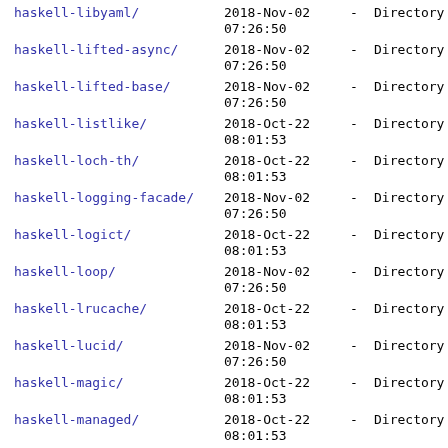haskell-libyaml/	2018-Nov-02 07:26:50	-	Directory
haskell-lifted-async/	2018-Nov-02 07:26:50	-	Directory
haskell-lifted-base/	2018-Nov-02 07:26:50	-	Directory
haskell-listlike/	2018-Oct-22 08:01:53	-	Directory
haskell-loch-th/	2018-Oct-22 08:01:53	-	Directory
haskell-logging-facade/	2018-Nov-02 07:26:50	-	Directory
haskell-logict/	2018-Oct-22 08:01:53	-	Directory
haskell-loop/	2018-Nov-02 07:26:50	-	Directory
haskell-lrucache/	2018-Oct-22 08:01:53	-	Directory
haskell-lucid/	2018-Nov-02 07:26:50	-	Directory
haskell-magic/	2018-Oct-22 08:01:53	-	Directory
haskell-managed/	2018-Oct-22 08:01:53	-	Directory
haskell-math-functions/	2018-Oct-22 08:01:53	-	Directory
haskell-megaparsec/	2018-Nov-02 07:26:50	-	Directory
haskell-memory/	2018-Nov-02 07:26:50	-	Directory
haskell-memotrie/	2018-Nov-02 07:26:50	-	Directory